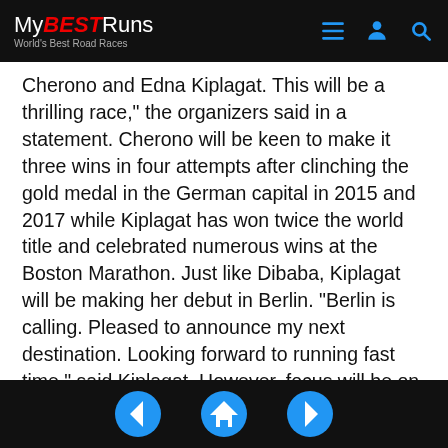MyBESTRuns — World's Best Road Races
Cherono and Edna Kiplagat. This will be a thrilling race," the organizers said in a statement. Cherono will be keen to make it three wins in four attempts after clinching the gold medal in the German capital in 2015 and 2017 while Kiplagat has won twice the world title and celebrated numerous wins at the Boston Marathon. Just like Dibaba, Kiplagat will be making her debut in Berlin. "Berlin is calling. Pleased to announce my next destination. Looking forward to running fast time," said Kiplagat. However, focus will be on 32-year-old Dibaba, who has three Olympic gold medals and nine world titles on the track and cross country. The Ethiopian has a marathon personal best time of 2:17:56. That time, which she set when finishing second at last year's London Marathon,
Navigation: back, home, forward